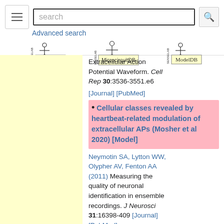search [search button] Advanced search | SenseLab | MicrocircuitDB | ModelDB
Extracellular Action Potential Waveform. Cell Rep 30:3536-3551.e6 [Journal] [PubMed]
Cellular classes revealed by heartbeat-related modulation of extracellular APs (Mosher et al 2020) [Model]
Neymotin SA, Lytton WW, Olypher AV, Fenton AA (2011) Measuring the quality of neuronal identification in ensemble recordings. J Neurosci 31:16398-409 [Journal] [PubMed]